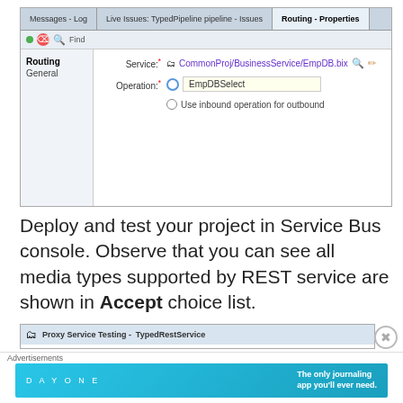[Figure (screenshot): IDE screenshot showing Routing - Properties tab with Service field set to CommonProj/BusinessService/EmpDB.bix and Operation set to EmpDBSelect with radio button selected, second option 'Use inbound operation for outbound']
Deploy and test your project in Service Bus console. Observe that you can see all media types supported by REST service are shown in Accept choice list.
[Figure (screenshot): Proxy Service Testing - TypedRestService tab bar at bottom of screen]
[Figure (screenshot): Advertisements banner showing Day One journaling app advertisement]